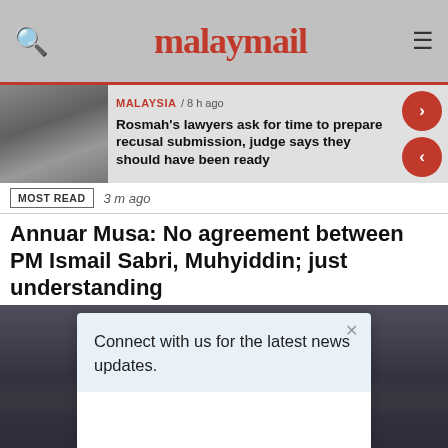malaymail
MALAYSIA / 8 h ago
Rosmah's lawyers ask for time to prepare recusal submission, judge says they should have been ready
MOST READ
3 m ago
Annuar Musa: No agreement between PM Ismail Sabri, Muhyiddin; just understanding
[Figure (photo): News article photo showing people in a crowd, one person in a headscarf visible]
Connect with us for the latest news updates.